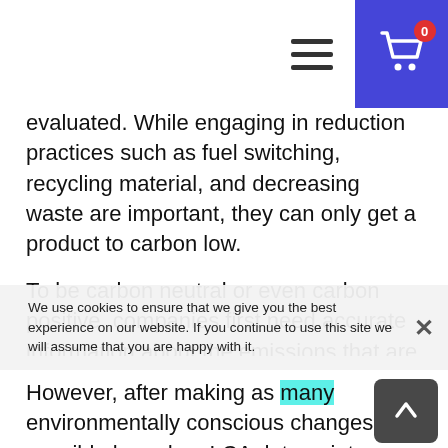Navigation bar with hamburger menu and shopping cart (0 items)
evaluated. While engaging in reduction practices such as fuel switching, recycling material, and decreasing waste are important, they can only get a product to carbon low.
To be carbon neutral or even carbon positive, companies first need accurate information about the emissions that are released in their supply chain so that they may make appropriate reduction decisions and educate their consumers. These data points can be obtained by conducting a life-cycle assessment (LCA), which calculates all emissions associated with their products and services.
Hotspots for innovation can then be accurately identified and reduction strategies may be implemented in areas they will be most effective.
We use cookies to ensure that we give you the best experience on our website. If you continue to use this site we will assume that you are happy with it.
However, after making as many environmentally conscious changes as possible based on LCA data points, there will